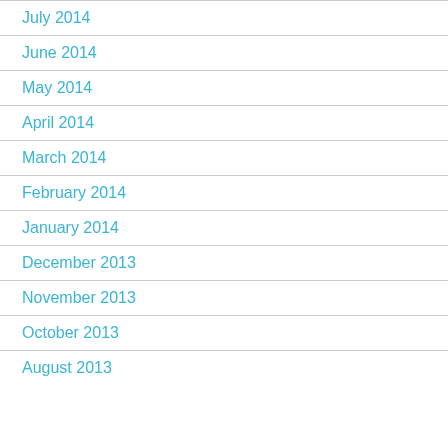July 2014
June 2014
May 2014
April 2014
March 2014
February 2014
January 2014
December 2013
November 2013
October 2013
August 2013